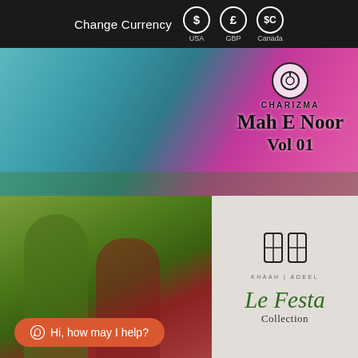Change Currency  $  USA  £  GBP  $C  Canada
[Figure (photo): Charizma Mah E Noor Vol 01 banner showing two women in colorful traditional Pakistani dresses (teal/blue and magenta/pink) with brand logo overlay]
[Figure (photo): Khaah Adeel Le Festa Collection banner showing two women in embroidered Pakistani suits (olive green and red) with brand logo and cursive text]
Hi, how may I help?